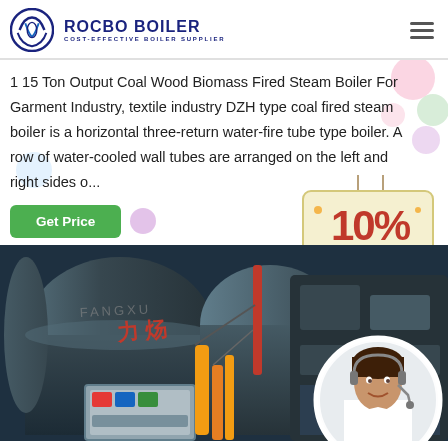[Figure (logo): Rocbo Boiler logo with circular icon and text 'ROCBO BOILER - COST-EFFECTIVE BOILER SUPPLIER']
1 15 Ton Output Coal Wood Biomass Fired Steam Boiler For Garment Industry, textile industry DZH type coal fired steam boiler is a horizontal three-return water-fire tube type boiler. A row of water-cooled wall tubes are arranged on the left and right sides o...
[Figure (infographic): 10% DISCOUNT badge with colorful sign design]
[Figure (photo): Industrial boiler equipment in a facility with blue boiler body, red and yellow pipes, control panels, and a circular inset showing a customer service representative with headset]